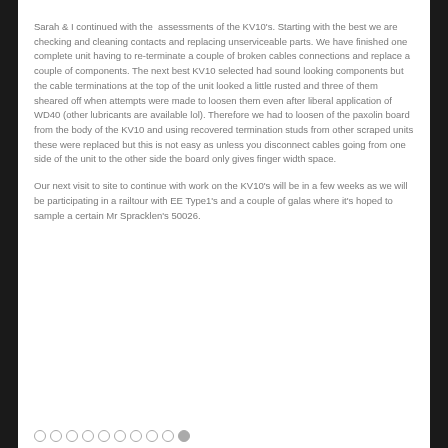Sarah & I continued with the  assessments of the KV10's. Starting with the best we are checking and cleaning contacts and replacing unserviceable parts. We have finished one complete unit having to re-terminate a couple of broken cables connections and replace a couple of components. The next best KV10 selected had sound looking components but the cable terminations at the top of the unit looked a little rusted and three of them sheared off when attempts were made to loosen them even after liberal application of WD40 (other lubricants are available lol). Therefore we had to loosen of the paxolin board from the body of the KV10 and using recovered termination studs from other scraped units these were replaced but this is not easy as unless you disconnect cables going from one side of the unit to the other side the board only gives finger width space.
Our next visit to site to continue with work on the KV10's will be in a few weeks as we will be participating in a railtour with EE Type1's and a couple of galas where it's hoped to sample a certain Mr Spracklen's 50026.